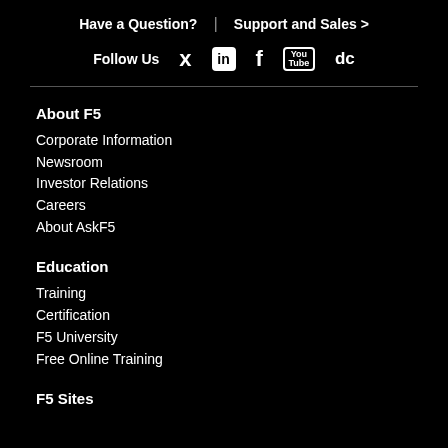Have a Question?  |  Support and Sales >
Follow Us [Twitter] [LinkedIn] [Facebook] [YouTube] [dc]
About F5
Corporate Information
Newsroom
Investor Relations
Careers
About AskF5
Education
Training
Certification
F5 University
Free Online Training
F5 Sites